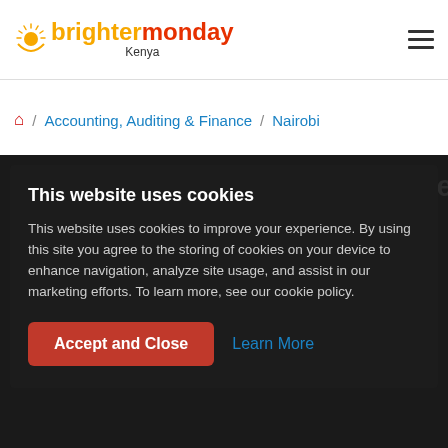brightermonday Kenya
Accounting, Auditing & Finance / Nairobi
This website uses cookies
This website uses cookies to improve your experience. By using this site you agree to the storing of cookies on your device to enhance navigation, analyze site usage, and assist in our marketing efforts. To learn more, see our cookie policy.
Accept and Close   Learn More